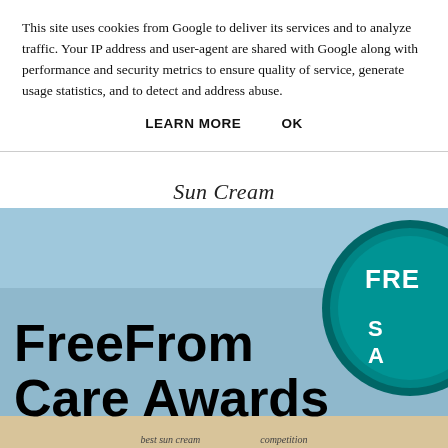This site uses cookies from Google to deliver its services and to analyze traffic. Your IP address and user-agent are shared with Google along with performance and security metrics to ensure quality of service, generate usage statistics, and to detect and address abuse.
LEARN MORE   OK
Sun Cream
[Figure (illustration): FreeFrom Care Awards banner image with bold black text on a light blue background and a teal circular badge partially visible on the right side. A beige/tan strip appears at the bottom of the image.]